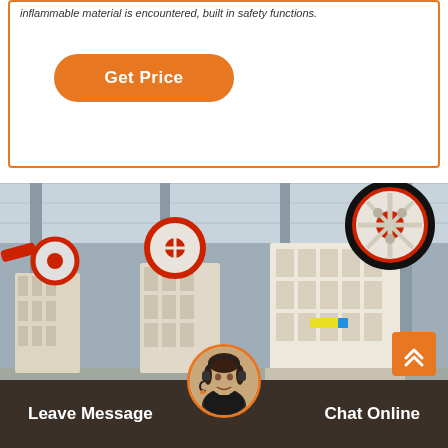inflammable material is encountered, built in safety functions.
[Figure (other): Orange rounded rectangle button labeled 'Get Price']
[Figure (photo): Industrial factory floor with multiple large jaw crusher machines lined up in rows, white and cream colored heavy machinery with red flywheel accents, inside a large warehouse with steel structure roof]
[Figure (other): Orange square scroll-to-top button with double upward chevron arrows]
[Figure (other): Customer service representative avatar in circular frame with orange border, woman wearing headset]
Leave Message
Chat Online